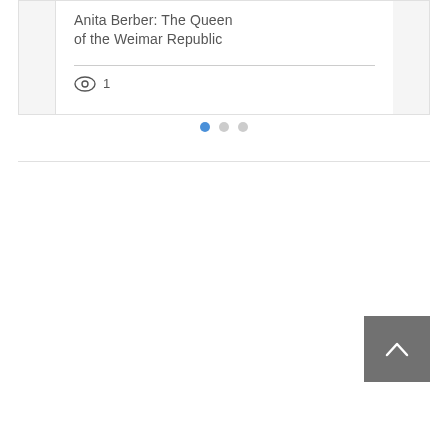Anita Berber: The Queen of the Weimar Republic
1
[Figure (infographic): Pagination indicator with three dots: first dot is filled blue (active), second and third dots are light gray (inactive)]
[Figure (infographic): Back to top button: dark gray square with a white upward-pointing chevron/caret arrow in the center]